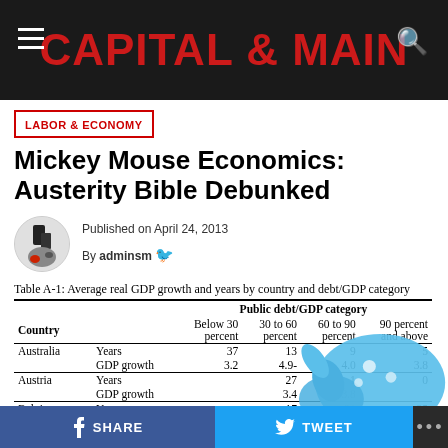CAPITAL & MAIN
LABOR & ECONOMY
Mickey Mouse Economics: Austerity Bible Debunked
Published on April 24, 2013
By adminsm
Table A-1: Average real GDP growth and years by country and debt/GDP category
| Country |  | Below 30 percent | 30 to 60 percent | 60 to 90 percent | 90 percent and above |
| --- | --- | --- | --- | --- | --- |
| Australia | Years | 37 | 13 | 9 | 5 |
|  | GDP growth | 3.2 | 4.9- | 4.0 | 3.8 |
| Austria | Years |  | 27 | 1 | 0 |
|  | GDP growth |  | 3.4 | -3.8 |  |
| Belgium | Years |  | 17 | 21 | 25 |